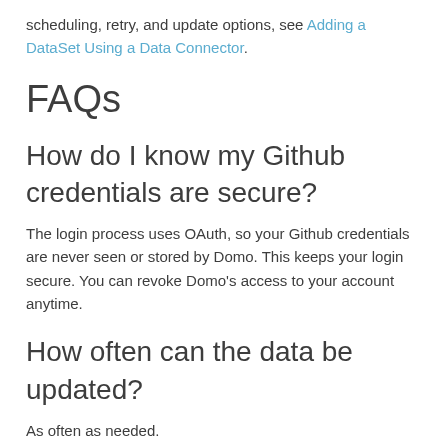scheduling, retry, and update options, see Adding a DataSet Using a Data Connector.
FAQs
How do I know my Github credentials are secure?
The login process uses OAuth, so your Github credentials are never seen or stored by Domo. This keeps your login secure. You can revoke Domo's access to your account anytime.
How often can the data be updated?
As often as needed.